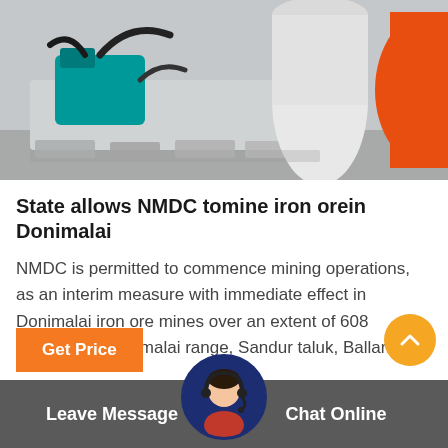[Figure (photo): Industrial mining equipment machinery with teal/turquoise colored motor/pump components and orange cylindrical pipe or drum on a concrete surface]
State allows NMDC tomine iron orein Donimalai
NMDC is permitted to commence mining operations, as an interim measure with immediate effect in Donimalai iron ore mines over an extent of 608 hectares at Donimalai range, Sandur taluk, Ballari...
Get Price
Leave Message  Chat Online